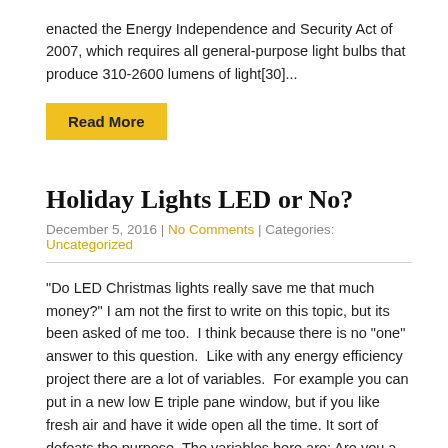enacted the Energy Independence and Security Act of 2007, which requires all general-purpose light bulbs that produce 310-2600 lumens of light[30]...
Read More
Holiday Lights LED or No?
December 5, 2016 | No Comments | Categories: Uncategorized
“Do LED Christmas lights really save me that much money?” I am not the first to write on this topic, but its been asked of me too.  I think because there is no “one” answer to this question.  Like with any energy efficiency project there are a lot of variables.  For example you can put in a new low E triple pane window, but if you like fresh air and have it wide open all the time. It sort of defeats the purpose. The variables here are: Are you a pre-thanksgiving Christmas’er or post.  Are your lights on a timer?...